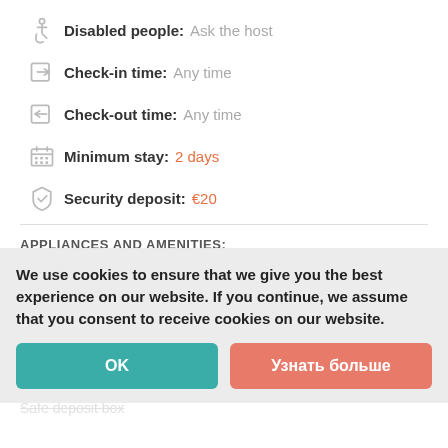Disabled people: Ask the host
Check-in time: Any time
Check-out time: Any time
Minimum stay: 2 days
Security deposit: €20
APPLIANCES AND AMENITIES:
We use cookies to ensure that we give you the best experience on our website. If you continue, we assume that you consent to receive cookies on our website.
OK
Узнать больше